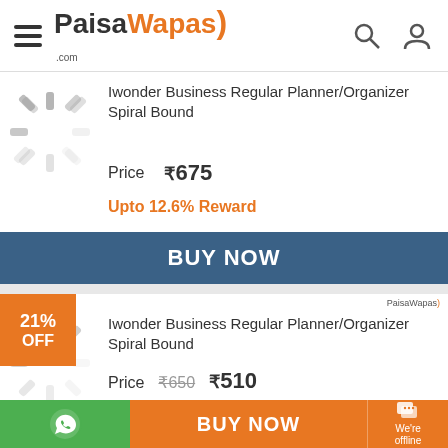PaisaWapas.com
Iwonder Business Regular Planner/Organizer Spiral Bound
Price ₹675
Upto 12.6% Reward
BUY NOW
21% OFF
Iwonder Business Regular Planner/Organizer Spiral Bound
Price ₹650 ₹510
Upto 12.6% Reward
BUY NOW